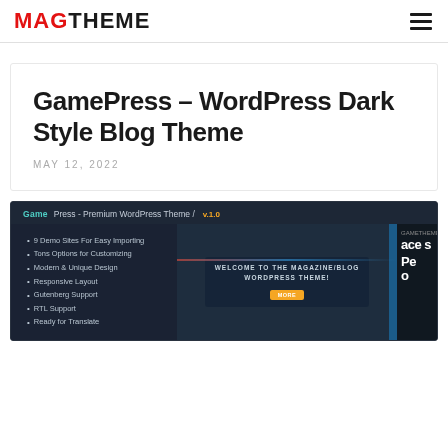MAGTHEME
GamePress – WordPress Dark Style Blog Theme
MAY 12, 2022
[Figure (screenshot): Screenshot of GamePress Premium WordPress Theme v1.0 promotional image showing features list and dark-style blog theme preview with welcome badge and magazine/blog layout.]